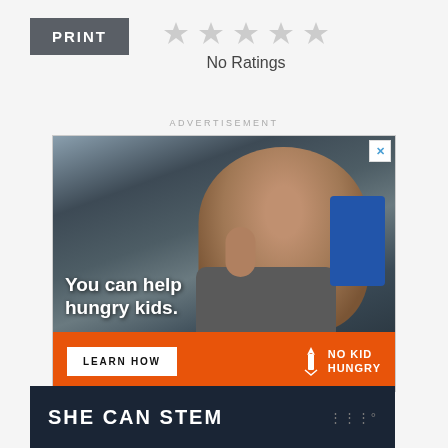PRINT
[Figure (infographic): Five empty/grey star rating icons in a row]
No Ratings
ADVERTISEMENT
[Figure (photo): No Kid Hungry advertisement showing a young boy eating, with text 'You can help hungry kids.' and a 'LEARN HOW' button on an orange background with the No Kid Hungry logo]
SHE CAN STEM